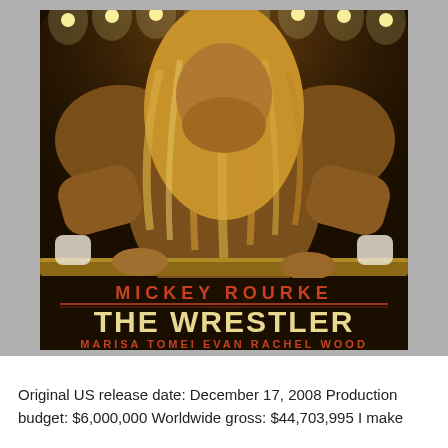[Figure (photo): Movie poster for 'The Wrestler' featuring Mickey Rourke as a muscular wrestler with long blond hair, leaning on ring ropes under stage lights. Text reads: MICKEY ROURKE / THE WRESTLER / MARISA TOMEI  EVAN RACHEL WOOD / COMING SOON / WWW.FOXSEARCHLIGHT.COM]
Original US release date: December 17, 2008 Production budget: $6,000,000 Worldwide gross: $44,703,995 I make